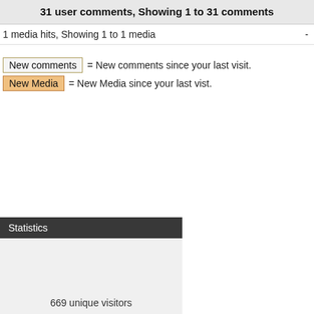31 user comments, Showing 1 to 31 comments
1 media hits, Showing 1 to 1 media   -
New comments = New comments since your last visit.
New Media = New Media since your last vist.
Statistics
669 unique visitors